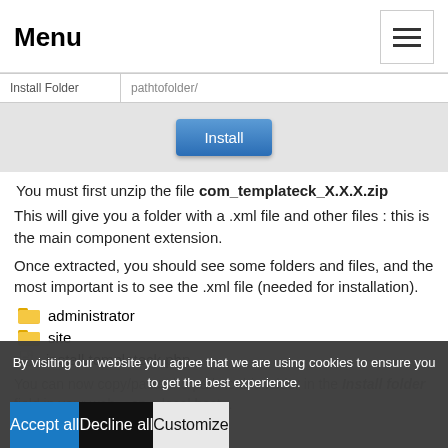Menu
[Figure (screenshot): Install Folder input field with pathtofolder/ placeholder text]
[Figure (screenshot): Install button on grey panel background]
You must first unzip the file com_templateck_X.X.X.zip
This will give you a folder with a .xml file and other files : this is the main component extension.
Once extracted, you should see some folders and files, and the most important is to see the .xml file (needed for installation).
administrator
site
install.templateck.php
You can now copy/paste the path to this folder in the Install folder field in your web... on a local host...
By visiting our website you agree that we are using cookies to ensure you to get the best experience.
Accept all | Decline all | Customize